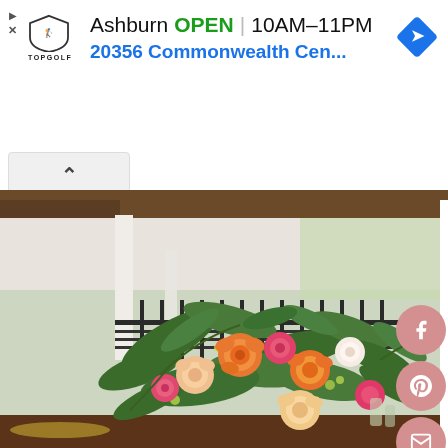[Figure (screenshot): Topgolf advertisement banner showing Ashburn location, OPEN status, hours 10AM-11PM, address 20356 Commonwealth Cen..., with navigation arrow diamond icon]
[Figure (photo): Wedding floral centerpiece with orange, peach, pink roses, green eucalyptus foliage on a wooden table, with white chairs and porch railing in background]
[Figure (infographic): Social share buttons on right side: Facebook (f), Pinterest (p), Email (envelope), Reddit icons, all in dusty rose/salmon pink circular buttons]